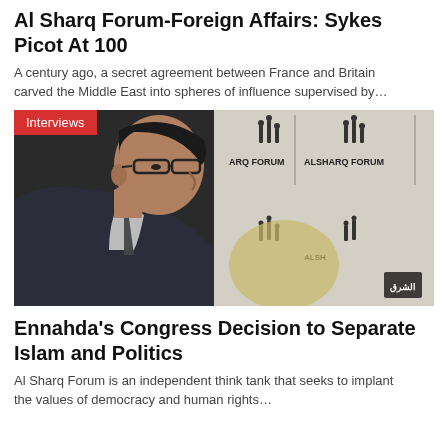Al Sharq Forum-Foreign Affairs: Sykes Picot At 100
A century ago, a secret agreement between France and Britain carved the Middle East into spheres of influence supervised by…
[Figure (photo): Man in suit and glasses sitting in profile in front of Al Sharq Forum backdrop with Arabic text and logos. Red 'Interviews' badge in top-left corner.]
Ennahda's Congress Decision to Separate Islam and Politics
Al Sharq Forum is an independent think tank that seeks to implant the values of democracy and human rights…